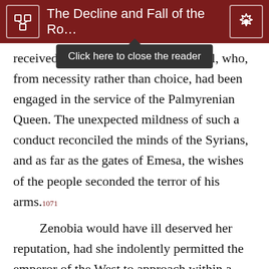The Decline and Fall of the Ro…
received the … a general pardon to all, who, from necessity rather than choice, had been engaged in the service of the Palmyrenian Queen. The unexpected mildness of such a conduct reconciled the minds of the Syrians, and as far as the gates of Emesa, the wishes of the people seconded the terror of his arms.1071
Zenobia would have ill deserved her reputation, had she indolently permitted the emperor of the West to approach within a hundred miles of her capital. The fate of the East was decided in two great battles; so similar in almost every circumstance, that we can scarcely